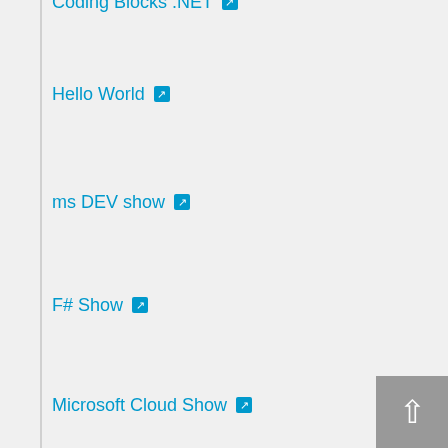Coding Blocks .NET ↗
Hello World ↗
ms DEV show ↗
F# Show ↗
Microsoft Cloud Show ↗
The Azure Podcast ↗
Eat Sleep Code ↗
Merge Conflict ↗
Xamarin Podcast ↗
WT F# ↗
SQL Server Radio ↗